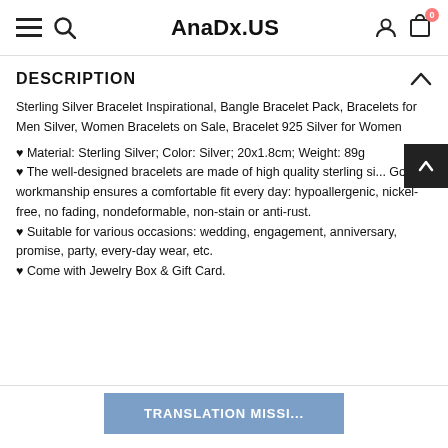AnaDx.US
DESCRIPTION
Sterling Silver Bracelet Inspirational, Bangle Bracelet Pack, Bracelets for Men Silver, Women Bracelets on Sale, Bracelet 925 Silver for Women
♥ Material: Sterling Silver; Color: Silver; 20x1.8cm; Weight: 89g
♥ The well-designed bracelets are made of high quality sterling si... Good workmanship ensures a comfortable fit every day: hypoallergenic, nickel-free, no fading, nondeformable, non-stain or anti-rust.
♥ Suitable for various occasions: wedding, engagement, anniversary, promise, party, every-day wear, etc.
♥ Come with Jewelry Box & Gift Card.
TRANSLATION MISSI...